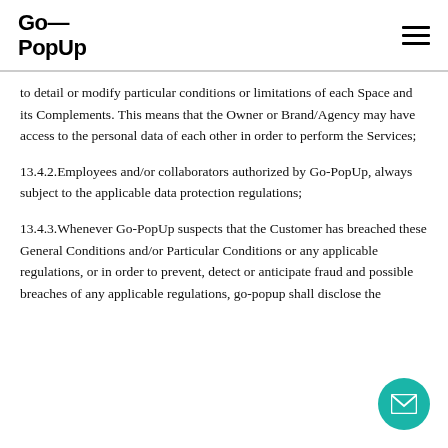Go—PopUp
to detail or modify particular conditions or limitations of each Space and its Complements. This means that the Owner or Brand/Agency may have access to the personal data of each other in order to perform the Services;
13.4.2.Employees and/or collaborators authorized by Go-PopUp, always subject to the applicable data protection regulations;
13.4.3.Whenever Go-PopUp suspects that the Customer has breached these General Conditions and/or Particular Conditions or any applicable regulations, or in order to prevent, detect or anticipate fraud and possible breaches of any applicable regulations, go-popup shall disclose the